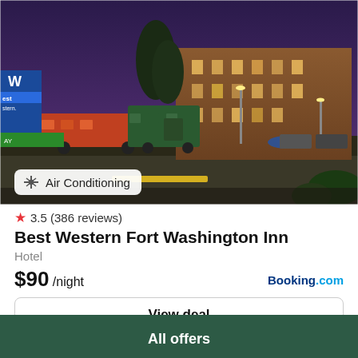[Figure (photo): Hotel exterior at night: Best Western Fort Washington Inn with vintage train cars in parking lot, illuminated building and signage, dark purple sky. Air Conditioning badge overlay at bottom left.]
★ 3.5 (386 reviews)
Best Western Fort Washington Inn
Hotel
$90 /night
Booking.com
View deal
All offers